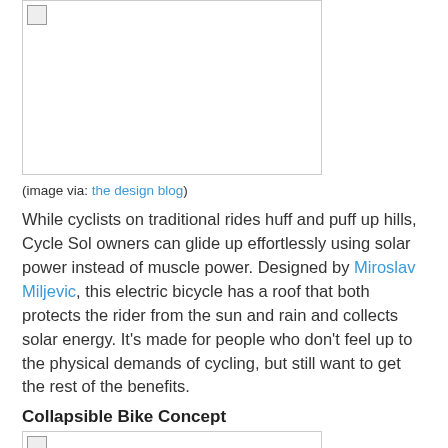[Figure (photo): Image placeholder with broken image icon at top-left]
(image via: the design blog)
While cyclists on traditional rides huff and puff up hills, Cycle Sol owners can glide up effortlessly using solar power instead of muscle power. Designed by Miroslav Miljevic, this electric bicycle has a roof that both protects the rider from the sun and rain and collects solar energy. It’s made for people who don’t feel up to the physical demands of cycling, but still want to get the rest of the benefits.
Collapsible Bike Concept
[Figure (photo): Image placeholder with broken image icon at top-left]